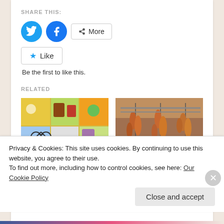SHARE THIS:
[Figure (infographic): Social share buttons: Twitter (blue circle), Facebook (blue circle), More button, Like button with star, and 'Be the first to like this.' text]
Be the first to like this.
RELATED
[Figure (photo): Colorful market bags and accessories at an eco-friendly holiday market stall]
How to make you holiday more eco-
[Figure (photo): Sausages and meats hanging on a rack, pig slaughter tradition]
The Pig Slaughter, An Annual Tradition in
Privacy & Cookies: This site uses cookies. By continuing to use this website, you agree to their use.
To find out more, including how to control cookies, see here: Our Cookie Policy
Close and accept